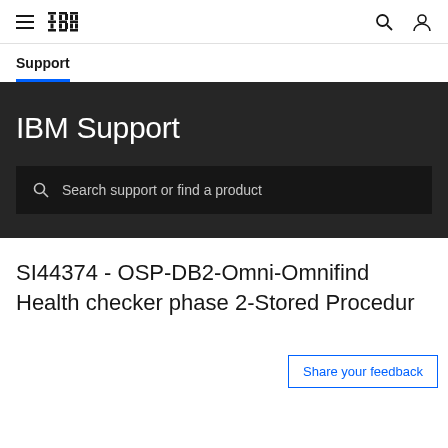IBM Support
Support
IBM Support
Search support or find a product
SI44374 - OSP-DB2-Omni-Omnifind Health checker phase 2-Stored Procedur
Share your feedback